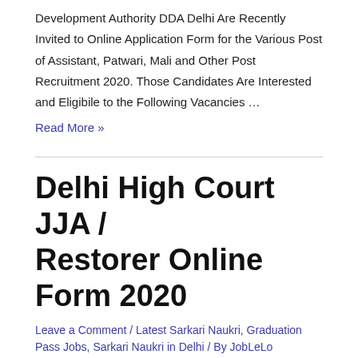Development Authority DDA Delhi Are Recently Invited to Online Application Form for the Various Post of Assistant, Patwari, Mali and Other Post Recruitment 2020. Those Candidates Are Interested and Eligibile to the Following Vacancies …
Read More »
Delhi High Court JJA / Restorer Online Form 2020
Leave a Comment / Latest Sarkari Naukri, Graduation Pass Jobs, Sarkari Naukri in Delhi / By JobLeLo
Delhi High Court JJA / Restorer Online Form 2020 – 132 Post, Eligibility, Salary, Admit Card, Exam Date and Full Notification – Delhi High Court DHC Are Invited to Online Application Recruitment Form for the Post of Junior Judicial Assistant /